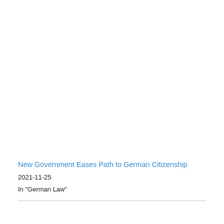New Government Eases Path to German Citizenship
2021-11-25
In "German Law"